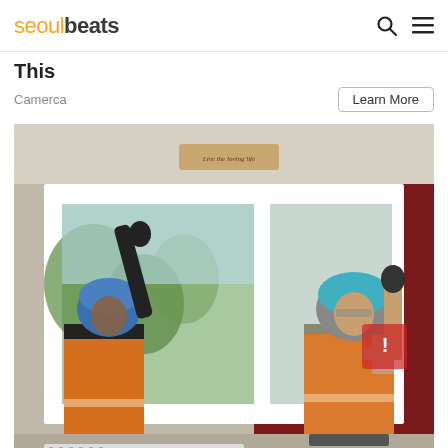seoulbeats
This
Camerca
Learn More
[Figure (photo): Two workers wearing orange high-visibility vests, safety gloves, and blue/teal helmets installing a large white window frame inside a room with a dark red accent wall. One worker stands outside reaching up, the other stands inside holding the top of the frame.]